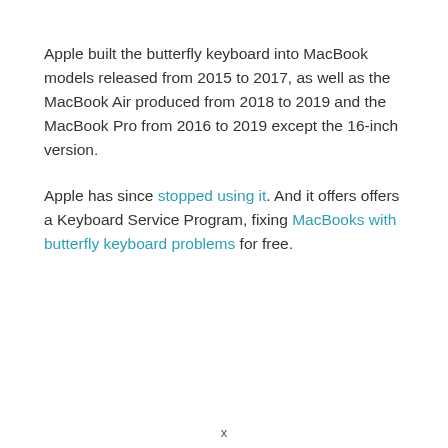Apple built the butterfly keyboard into MacBook models released from 2015 to 2017, as well as the MacBook Air produced from 2018 to 2019 and the MacBook Pro from 2016 to 2019 except the 16-inch version.
Apple has since stopped using it. And it offers offers a Keyboard Service Program, fixing MacBooks with butterfly keyboard problems for free.
x